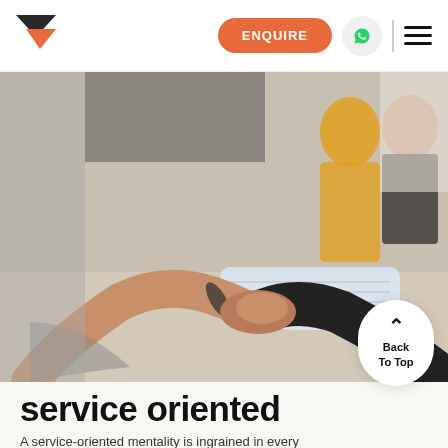ENQUIRE | navigation bar with logo, enquire button, whatsapp button, hamburger menu
[Figure (photo): Two people shaking hands over a rolled blueprint/document on a table. Multiple people visible in background wearing casual and work attire. Professional business handshake in a meeting setting.]
service oriented
A service-oriented mentality is ingrained in every